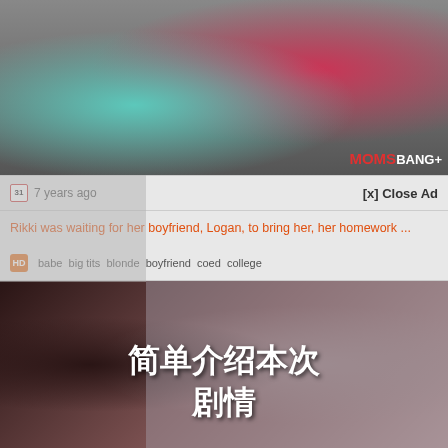[Figure (photo): Thumbnail image of adults in a kitchen scene with MomsBang+ logo overlay]
7 years ago
[x] Close Ad
Rikki was waiting for her boyfriend, Logan, to bring her, her homework ...
babe  big tits  blonde  boyfriend  coed  college
[Figure (photo): Second video thumbnail with blurred/dark foreground and Chinese text overlay reading 简单介绍本次剧情]